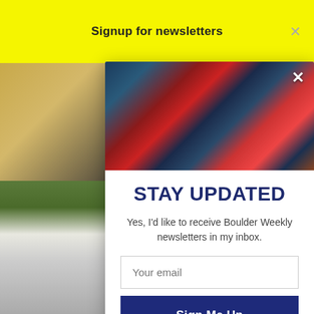Signup for newsletters
[Figure (photo): Aerial or close-up photo of colorful red, blue, purple rock formations or mountainous landscape with pine trees]
STAY UPDATED
Yes, I'd like to receive Boulder Weekly newsletters in my inbox.
Your email
Sign Me Up